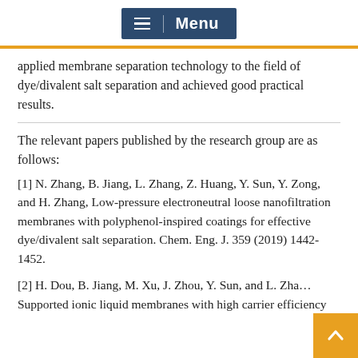Menu
applied membrane separation technology to the field of dye/divalent salt separation and achieved good practical results.
The relevant papers published by the research group are as follows:
[1] N. Zhang, B. Jiang, L. Zhang, Z. Huang, Y. Sun, Y. Zong, and H. Zhang, Low-pressure electroneutral loose nanofiltration membranes with polyphenol-inspired coatings for effective dye/divalent salt separation. Chem. Eng. J. 359 (2019) 1442-1452.
[2] H. Dou, B. Jiang, M. Xu, J. Zhou, Y. Sun, and L. Zh… Supported ionic liquid membranes with high carrier efficiency